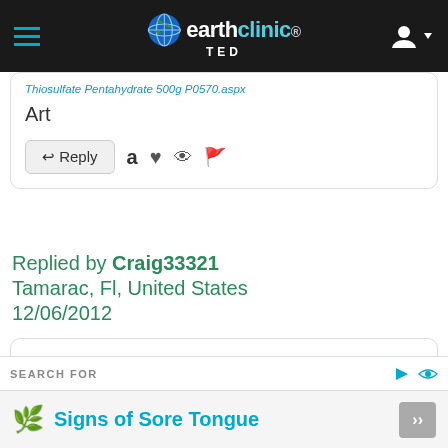earthclinic TED
Thiosulfate Pentahydrate 500g P0570.aspx
Art
Reply
Replied by Craig33321
Tamarac, Fl, United States
12/06/2012
Thank Art, I really really appreciate it. I'll give it a try and keep you guys updated. Thanks
SEARCH FOR
Signs of Sore Tongue